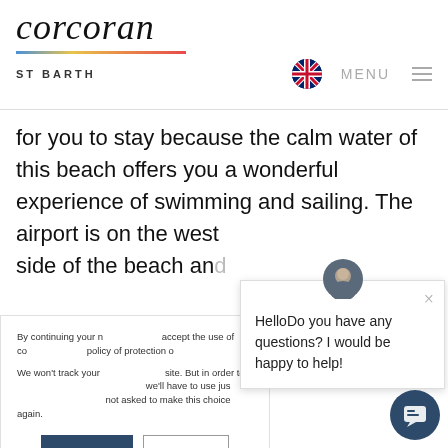[Figure (logo): Corcoran St Barth logo with italic text and multicolor bar]
for you to stay because the calm water of this beach offers you a wonderful experience of swimming and sailing. The airport is on the west side of the beach an...
By continuing your navigation, you accept the use of co... policy of protection of...

We won't track your... site. But in order to ... we'll have to use jus... not asked to make this choice again.
HelloDo you have any questions? I would be happy to help!
Accept
Decline